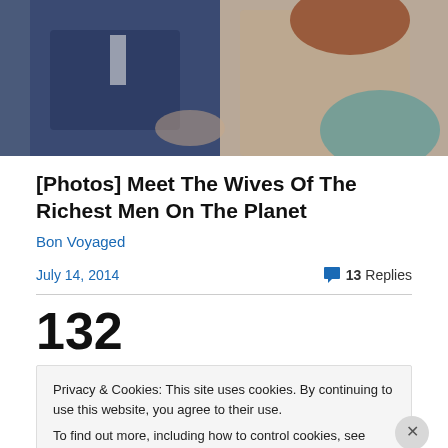[Figure (photo): Cropped photo showing two people seated: a man in a navy suit and a woman with red hair in a lace/textured top]
[Photos] Meet The Wives Of The Richest Men On The Planet
Bon Voyaged
July 14, 2014
13 Replies
132
Privacy & Cookies: This site uses cookies. By continuing to use this website, you agree to their use.
To find out more, including how to control cookies, see here: Cookie Policy
Close and accept